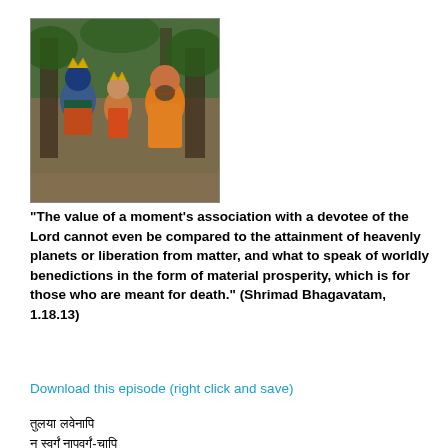[Figure (illustration): Religious painting depicting three figures — Krishna (blue-skinned), a young devotee, and a sage/teacher in orange robes — standing together in a forest setting.]
“The value of a moment’s association with a devotee of the Lord cannot even be compared to the attainment of heavenly planets or liberation from matter, and what to speak of worldly benedictions in the form of material prosperity, which is for those who are meant for death.” (Shrimad Bhagavatam, 1.18.13)
Download this episode (right click and save)
तुलयाम लवेनापि
न स्वर्गं नापवर्गं-चापि
महद-विचलनं-मिषात्
किमुतान् संकथां आसिषाम्

tulayāma lavapāni